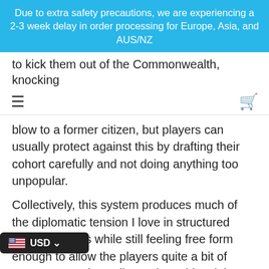Due to extra safety precautions, we are experiencing a 2-3 week delay in order processing for Europe, Asia, and AUS/NZ
to kick them out of the Commonwealth, knocking
blow to a former citizen, but players can usually protect against this by drafting their cohort carefully and not doing anything too unpopular.
Collectively, this system produces much of the diplomatic tension I love in structured political games while still feeling free form enough to allow the players quite a bit of agency. Next time, I'll round out this mini series on victory with a detailed discussion of the different paths to victory, popularity, and the game end trigger.